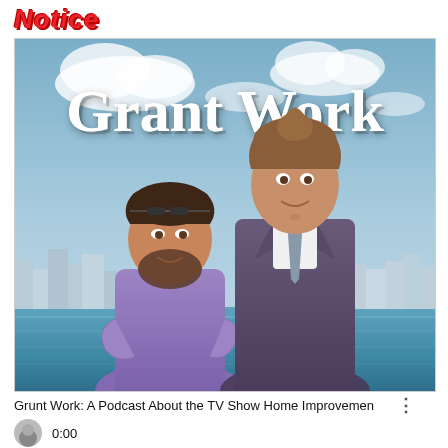Notice
[Figure (photo): Movie poster parody titled 'Grant Work' showing two people posed back-to-back in front of a city skyline and water backdrop. One person wears a purple top and leans back, the other wears a suit and looks upward. Style mimics a romantic comedy poster.]
Grunt Work: A Podcast About the TV Show Home Improvemen
0:00